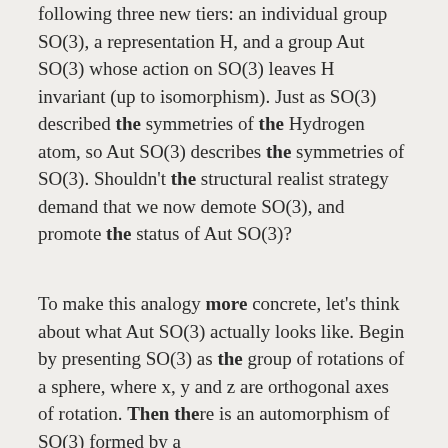following three new tiers: an individual group SO(3), a representation H, and a group Aut SO(3) whose action on SO(3) leaves H invariant (up to isomorphism). Just as SO(3) described the symmetries of the Hydrogen atom, so Aut SO(3) describes the symmetries of SO(3). Shouldn't the structural realist strategy demand that we now demote SO(3), and promote the status of Aut SO(3)?
To make this analogy more concrete, let's think about what Aut SO(3) actually looks like. Begin by presenting SO(3) as the group of rotations of a sphere, where x, y and z are orthogonal axes of rotation. Then there is an automorphism of SO(3) formed by a